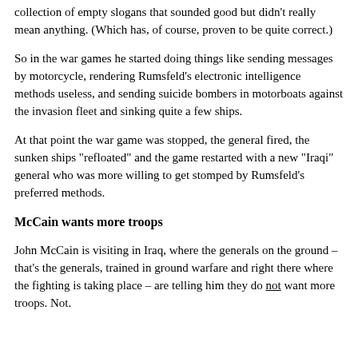collection of empty slogans that sounded good but didn't really mean anything. (Which has, of course, proven to be quite correct.)
So in the war games he started doing things like sending messages by motorcycle, rendering Rumsfeld's electronic intelligence methods useless, and sending suicide bombers in motorboats against the invasion fleet and sinking quite a few ships.
At that point the war game was stopped, the general fired, the sunken ships "refloated" and the game restarted with a new "Iraqi" general who was more willing to get stomped by Rumsfeld's preferred methods.
McCain wants more troops
John McCain is visiting in Iraq, where the generals on the ground – that's the generals, trained in ground warfare and right there where the fighting is taking place – are telling him they do not want more troops. Not.